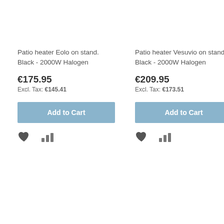Patio heater Eolo on stand. Black - 2000W Halogen
€175.95
Excl. Tax: €145.41
Add to Cart
Patio heater Vesuvio on stand. Black - 2000W Halogen
€209.95
Excl. Tax: €173.51
Add to Cart